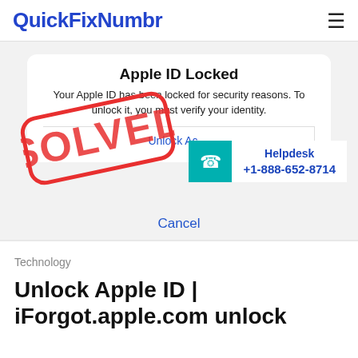QuickFixNumbr
[Figure (screenshot): Screenshot of Apple ID Locked dialog with SOLVED stamp overlay and Helpdesk phone number +1-888-652-8714 with teal phone icon. Dialog reads: Apple ID Locked - Your Apple ID has been locked for security reasons. To unlock it, you must verify your identity. Unlock Account | Cancel buttons.]
Technology
Unlock Apple ID | iForgot.apple.com unlock